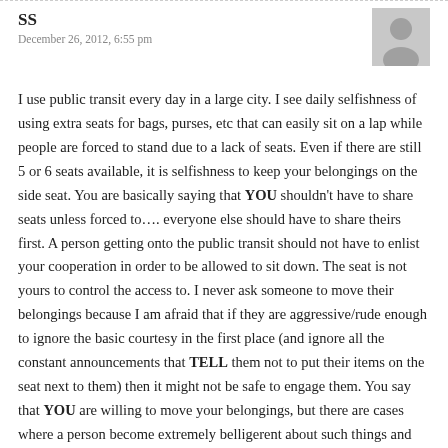SS
December 26, 2012, 6:55 pm
I use public transit every day in a large city. I see daily selfishness of using extra seats for bags, purses, etc that can easily sit on a lap while people are forced to stand due to a lack of seats. Even if there are still 5 or 6 seats available, it is selfishness to keep your belongings on the side seat. You are basically saying that YOU shouldn't have to share seats unless forced to…. everyone else should have to share theirs first. A person getting onto the public transit should not have to enlist your cooperation in order to be allowed to sit down. The seat is not yours to control the access to. I never ask someone to move their belongings because I am afraid that if they are aggressive/rude enough to ignore the basic courtesy in the first place (and ignore all the constant announcements that TELL them not to put their items on the seat next to them) then it might not be safe to engage them. You say that YOU are willing to move your belongings, but there are cases where a person become extremely belligerent about such things and about situations and I'm not willing to take th